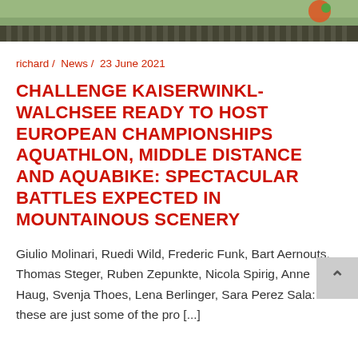[Figure (photo): Partial outdoor photo showing greenery/fence at top of page]
richard /  News /  23 June 2021
CHALLENGE KAISERWINKL-WALCHSEE READY TO HOST EUROPEAN CHAMPIONSHIPS AQUATHLON, MIDDLE DISTANCE AND AQUABIKE: SPECTACULAR BATTLES EXPECTED IN MOUNTAINOUS SCENERY
Giulio Molinari, Ruedi Wild, Frederic Funk, Bart Aernouts, Thomas Steger, Ruben Zepunkte, Nicola Spirig, Anne Haug, Svenja Thoes, Lena Berlinger, Sara Perez Sala: these are just some of the pro [...]